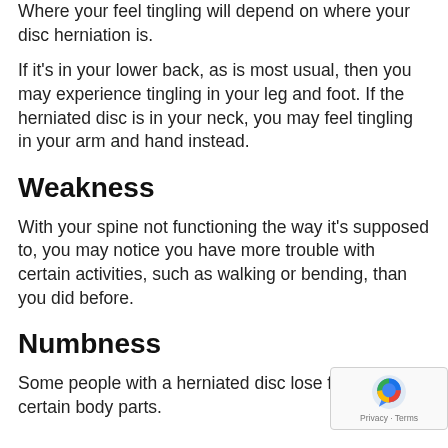Where your feel tingling will depend on where your disc herniation is.
If it's in your lower back, as is most usual, then you may experience tingling in your leg and foot. If the herniated disc is in your neck, you may feel tingling in your arm and hand instead.
Weakness
With your spine not functioning the way it's supposed to, you may notice you have more trouble with certain activities, such as walking or bending, than you did before.
Numbness
Some people with a herniated disc lose feeling in certain body parts.